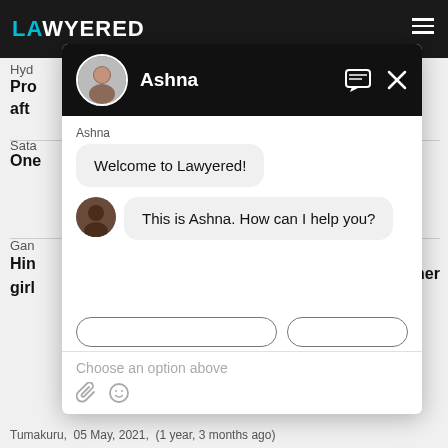LAWYERED
Hyd
Property after
Satara
One
Gang
Hindu girl her
[Figure (screenshot): Chat widget from Lawyered showing a conversation with Ashna. The chat header shows Ashna's avatar and name on a black background with a message icon and X close button. The chat body shows a bubble 'Welcome to Lawyered!' and a second bubble with Ashna's avatar 'This is Ashna. How can I help you?'. Below are two quick-reply button outlines, and an input area with placeholder 'Choose an option above' and attachment/emoji icons.]
Tumakuru,  05 May, 2021,  (1 year, 3 months ago)